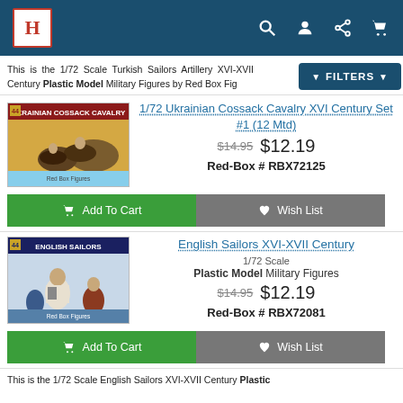History website header with logo H and navigation icons
This is the 1/72 Scale Turkish Sailors Artillery XVI-XVII Century Plastic Model Military Figures by Red Box Fig
[Figure (screenshot): FILTERS button overlay]
[Figure (photo): 1/72 Ukrainian Cossack Cavalry box art showing mounted cavalry figures]
1/72 Ukrainian Cossack Cavalry XVI Century Set #1 (12 Mtd)
$14.95 $12.19
Red-Box # RBX72125
Add To Cart   Wish List
[Figure (photo): English Sailors box art showing sailors figures]
English Sailors XVI-XVII Century
1/72 Scale
Plastic Model Military Figures
$14.95 $12.19
Red-Box # RBX72081
Add To Cart   Wish List
This is the 1/72 Scale English Sailors XVI-XVII Century Plastic